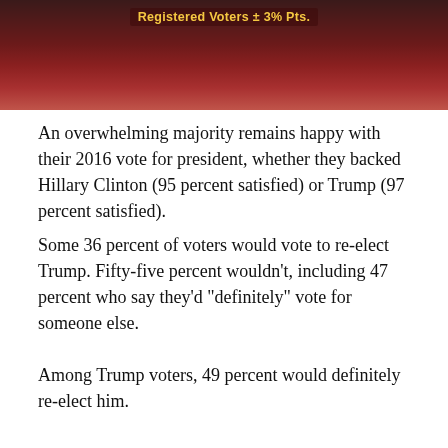[Figure (photo): Top portion of a poll graphic with dark red/maroon background, showing text 'Registered Voters ± 3% Pts.' in yellow/gold, partially visible.]
An overwhelming majority remains happy with their 2016 vote for president, whether they backed Hillary Clinton (95 percent satisfied) or Trump (97 percent satisfied).
Some 36 percent of voters would vote to re-elect Trump. Fifty-five percent wouldn't, including 47 percent who say they'd "definitely" vote for someone else.
Among Trump voters, 49 percent would definitely re-elect him.
[Figure (other): Gray/light background placeholder box, likely containing a chart or poll graphic (content not visible).]
For comparison, 64 percent of Obama voters said they'd